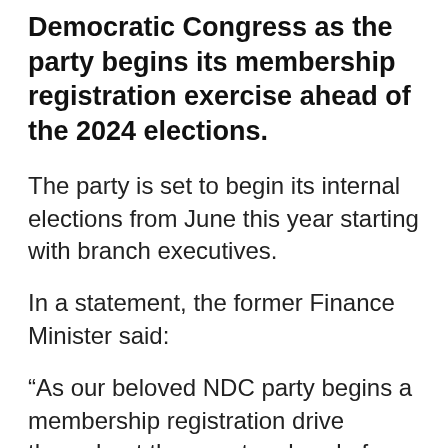Democratic Congress as the party begins its membership registration exercise ahead of the 2024 elections.
The party is set to begin its internal elections from June this year starting with branch executives.
In a statement, the former Finance Minister said:
“As our beloved NDC party begins a membership registration drive throughout the country ahead of internal reorganization, I wish to encourage Ghanaians to answer the